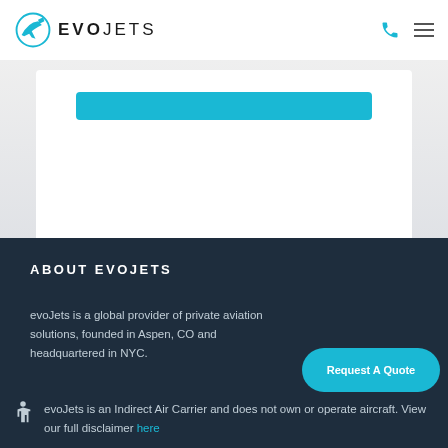EvoJets
[Figure (screenshot): White card section with teal button partially visible at top]
ABOUT EVOJETS
evoJets is a global provider of private aviation solutions, founded in Aspen, CO and headquartered in NYC.
[Figure (other): Request A Quote teal rounded button]
evoJets is an Indirect Air Carrier and does not own or operate aircraft. View our full disclaimer here